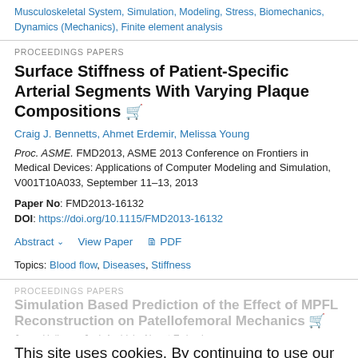Musculoskeletal System, Simulation, Modeling, Stress, Biomechanics, Dynamics (Mechanics), Finite element analysis
PROCEEDINGS PAPERS
Surface Stiffness of Patient-Specific Arterial Segments With Varying Plaque Compositions
Craig J. Bennetts, Ahmet Erdemir, Melissa Young
Proc. ASME. FMD2013, ASME 2013 Conference on Frontiers in Medical Devices: Applications of Computer Modeling and Simulation, V001T10A033, September 11–13, 2013
Paper No: FMD2013-16132
DOI: https://doi.org/10.1115/FMD2013-16132
Abstract   View Paper   PDF
Topics: Blood flow, Diseases, Stiffness
PROCEEDINGS PAPERS
Simulation Based Prediction of the Effect of MPFL Reconstruction on Patellofemoral Mechanics
Jason Halloran, Jack Andrish, Ahmet Erdemir
This site uses cookies. By continuing to use our website, you are agreeing to our privacy policy. Accept